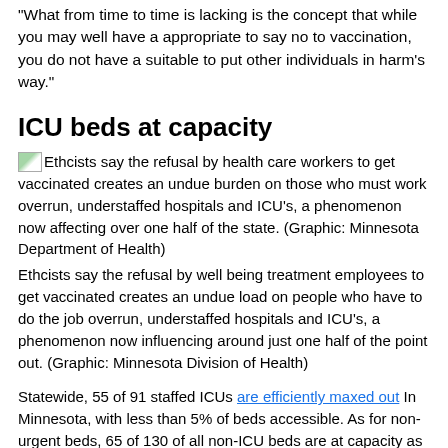"What from time to time is lacking is the concept that while you may well have a appropriate to say no to vaccination, you do not have a suitable to put other individuals in harm's way."
ICU beds at capacity
[Figure (photo): Small broken/placeholder image icon for a graphic from Minnesota Department of Health]
Ethcists say the refusal by health care workers to get vaccinated creates an undue burden on those who must work overrun, understaffed hospitals and ICU's, a phenomenon now affecting over one half of the state. (Graphic: Minnesota Department of Health)
Ethcists say the refusal by well being treatment employees to get vaccinated creates an undue load on people who have to do the job overrun, understaffed hospitals and ICU's, a phenomenon now influencing around just one half of the point out. (Graphic: Minnesota Division of Health)
Statewide, 55 of 91 staffed ICUs are efficiently maxed out In Minnesota, with less than 5% of beds accessible. As for non-urgent beds, 65 of 130 of all non-ICU beds are at capacity as